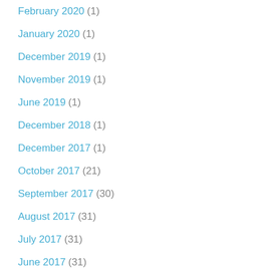February 2020 (1)
January 2020 (1)
December 2019 (1)
November 2019 (1)
June 2019 (1)
December 2018 (1)
December 2017 (1)
October 2017 (21)
September 2017 (30)
August 2017 (31)
July 2017 (31)
June 2017 (31)